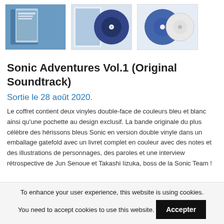[Figure (photo): Three product thumbnails: left shows blue vinyl sleeve interior, center shows vinyl record with cover art, right shows two vinyl discs (blue and white)]
Sonic Adventures Vol.1 (Original Soundtrack)
Sortie le 28 août 2020.
Le coffret contient deux vinyles double-face de couleurs bleu et blanc ainsi qu'une pochette au design exclusif. La bande originale du plus célèbre des hérissons bleus Sonic en version double vinyle dans un emballage gatefold avec un livret complet en couleur avec des notes et des illustrations de personnages, des paroles et une interview rétrospective de Jun Senoue et Takashi Iizuka, boss de la Sonic Team !
To enhance your user experience, this website is using cookies. You need to accept cookies to use this website. Accepter